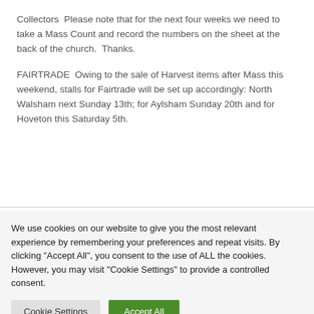Collectors  Please note that for the next four weeks we need to take a Mass Count and record the numbers on the sheet at the back of the church.  Thanks.
FAIRTRADE  Owing to the sale of Harvest items after Mass this weekend, stalls for Fairtrade will be set up accordingly: North Walsham next Sunday 13th; for Aylsham Sunday 20th and for Hoveton this Saturday 5th.
We use cookies on our website to give you the most relevant experience by remembering your preferences and repeat visits. By clicking "Accept All", you consent to the use of ALL the cookies. However, you may visit "Cookie Settings" to provide a controlled consent.